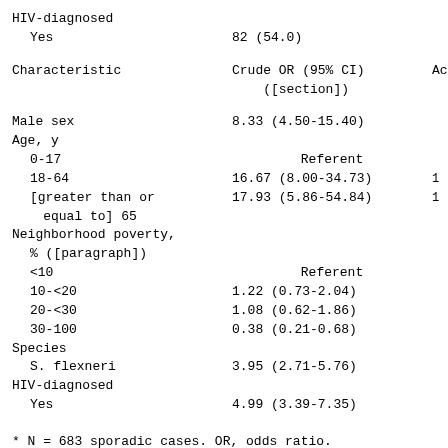HIV-diagnosed
  Yes    82 (54.0)
| Characteristic | Crude OR (95% CI) ([section]) | Adjusted OR (95% CI) ([section]) |
| --- | --- | --- |
| Male sex | 8.33 (4.50-15.40) |  |
| Age, y |  |  |
|   0-17 | Referent |  |
|   18-64 | 16.67 (8.00-34.73) |  |
|   [greater than or equal to] 65 | 17.93 (5.86-54.84) |  |
| Neighborhood poverty, % ([paragraph]) |  |  |
|   <10 | Referent |  |
|   10-<20 | 1.22 (0.73-2.04) |  |
|   20-<30 | 1.08 (0.62-1.86) |  |
|   30-100 | 0.38 (0.21-0.68) |  |
| Species |  |  |
|   S. flexneri | 3.95 (2.71-5.76) |  |
| HIV-diagnosed |  |  |
|   Yes | 4.99 (3.39-7.35) |  |
* N = 683 sporadic cases. OR, odds ratio. ([dagger]) S. boydii (n = 1) omitted.